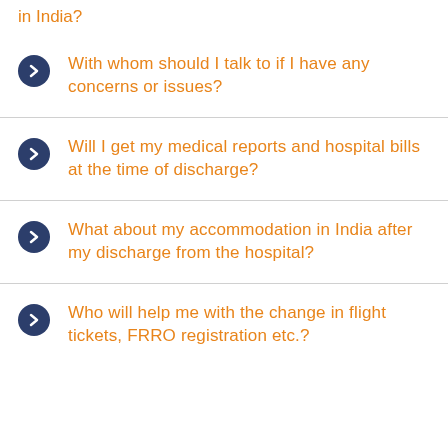in India?
With whom should I talk to if I have any concerns or issues?
Will I get my medical reports and hospital bills at the time of discharge?
What about my accommodation in India after my discharge from the hospital?
Who will help me with the change in flight tickets, FRRO registration etc.?